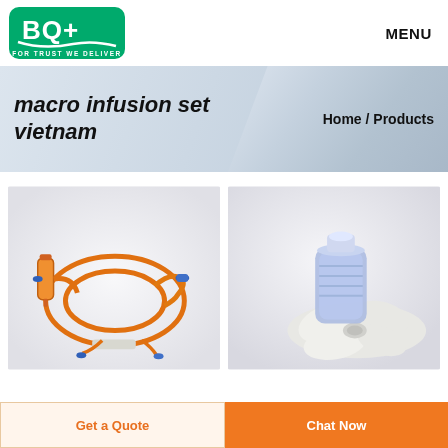[Figure (logo): BQ+ logo — green rounded square with white BQ+ text and 'FOR TRUST WE DELIVER' tagline at the bottom]
MENU
macro infusion set vietnam
Home / Products
[Figure (photo): Orange macro infusion set coiled IV tubing with drip chamber and connectors on white background]
[Figure (photo): Close-up of a clear blue/purple medical IV connector or luer lock fitting placed in a white plastic holder on white background]
Get a Quote
Chat Now